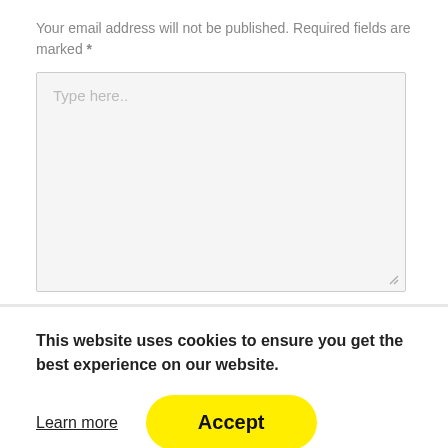Your email address will not be published. Required fields are marked *
[Figure (screenshot): A large empty text area input box with placeholder text 'Type here..' and a resize handle at the bottom right corner]
This website uses cookies to ensure you get the best experience on our website.
Learn more
Accept